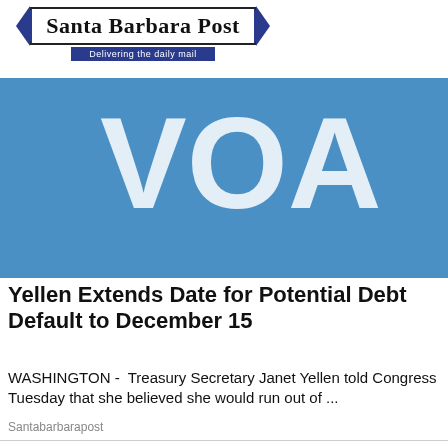[Figure (logo): Santa Barbara Post newspaper logo with decorative ribbon banner, subtitle 'Delivering the daily mail']
[Figure (photo): Blue background image with partial white VOA logo letters visible]
Yellen Extends Date for Potential Debt Default to December 15
WASHINGTON -  Treasury Secretary Janet Yellen told Congress Tuesday that she believed she would run out of ...
Santabarbarapost
[Figure (photo): A man in a white chef's coat with a serious expression, in a colorful kitchen environment with orange/red background]